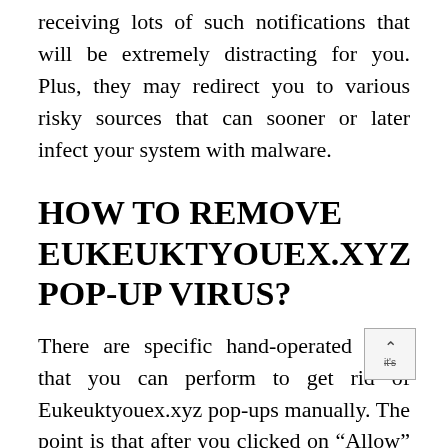receiving lots of such notifications that will be extremely distracting for you. Plus, they may redirect you to various risky sources that can sooner or later infect your system with malware.
HOW TO REMOVE EUKEUKTYOUEX.XYZ POP-UP VIRUS?
There are specific hand-operated steps that you can perform to get rid of Eukeuktyouex.xyz pop-ups manually. The point is that after you clicked on “Allow” these notifications were automatically made it possible for. However, now it’s time to get the issue manually fixed.